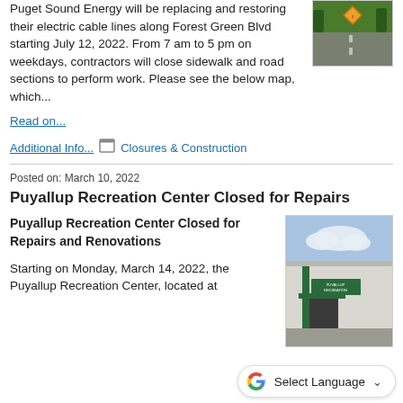Puget Sound Energy will be replacing and restoring their electric cable lines along Forest Green Blvd starting July 12, 2022. From 7 am to 5 pm on weekdays, contractors will close sidewalk and road sections to perform work. Please see the below map, which...
[Figure (photo): Road with orange diamond warning sign, surrounded by trees]
Read on...
Additional Info... Closures & Construction
Posted on: March 10, 2022
Puyallup Recreation Center Closed for Repairs
Puyallup Recreation Center Closed for Repairs and Renovations
[Figure (photo): Exterior of Puyallup Recreation Center building with sign]
Starting on Monday, March 14, 2022, the Puyallup Recreation Center, located at